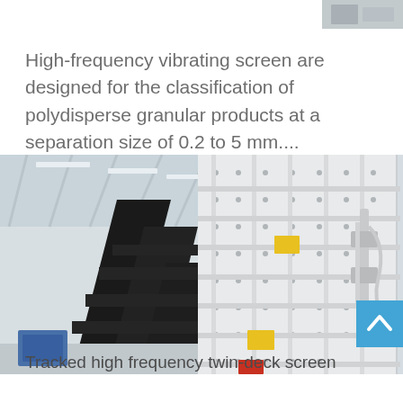[Figure (photo): Partial view of industrial machinery or equipment, appears to be cropped top-right corner thumbnail]
High-frequency vibrating screen are designed for the classification of polydisperse granular products at a separation size of 0.2 to 5 mm....
[Figure (photo): Industrial photo of a tracked high frequency twin-deck screen inside a factory/warehouse, showing black structural frame on left and white perforated screen panels on right, with warning labels visible]
Tracked high frequency twin-deck screen